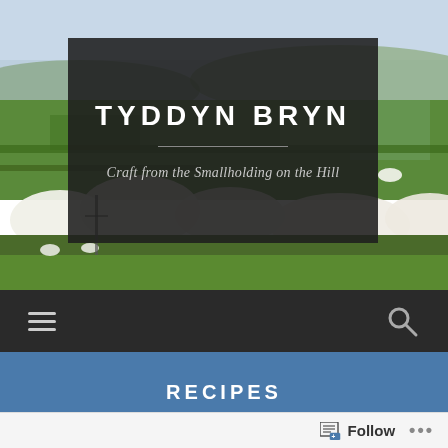[Figure (photo): Aerial/elevated view of a pastoral Welsh countryside landscape with green fields, hedgerows, blossoming trees, and distant hills under a hazy sky.]
TYDDYN BRYN
Craft from the Smallholding on the Hill
RECIPES
Follow ...